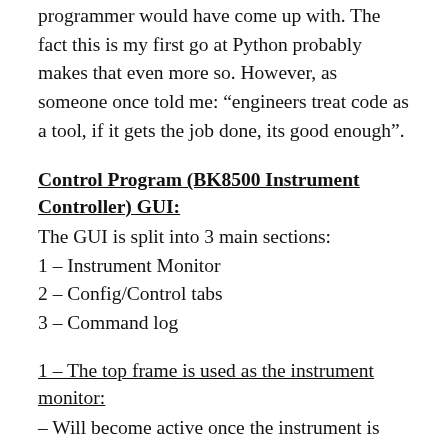programmer would have come up with. The fact this is my first go at Python probably makes that even more so. However, as someone once told me: “engineers treat code as a tool, if it gets the job done, its good enough”.
Control Program (BK8500 Instrument Controller) GUI:
The GUI is split into 3 main sections:
1 – Instrument Monitor
2 – Config/Control tabs
3 – Command log
1 – The top frame is used as the instrument monitor:
– Will become active once the instrument is connected. It will display the current selected